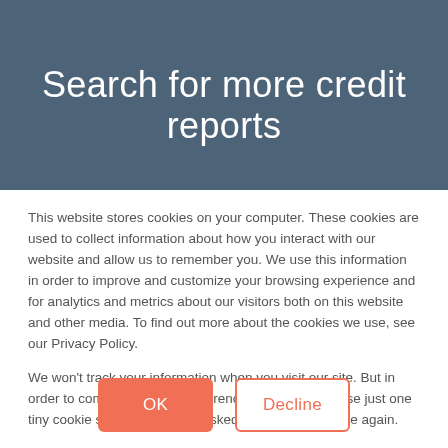Search for more credit reports
This website stores cookies on your computer. These cookies are used to collect information about how you interact with our website and allow us to remember you. We use this information in order to improve and customize your browsing experience and for analytics and metrics about our visitors both on this website and other media. To find out more about the cookies we use, see our Privacy Policy.
We won't track your information when you visit our site. But in order to comply with your preferences, we'll have to use just one tiny cookie so that you're not asked to make this choice again.